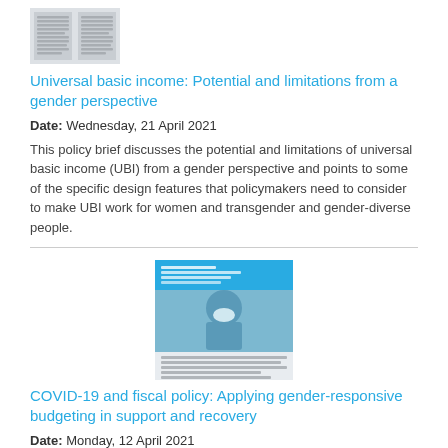[Figure (illustration): Thumbnail image of a document with two columns of text, grayscale]
Universal basic income: Potential and limitations from a gender perspective
Date: Wednesday, 21 April 2021
This policy brief discusses the potential and limitations of universal basic income (UBI) from a gender perspective and points to some of the specific design features that policymakers need to consider to make UBI work for women and transgender and gender-diverse people.
[Figure (photo): Thumbnail of a policy brief document cover featuring a person in medical protective gear (mask and gloves), with a blue header and text below]
COVID-19 and fiscal policy: Applying gender-responsive budgeting in support and recovery
Date: Monday, 12 April 2021